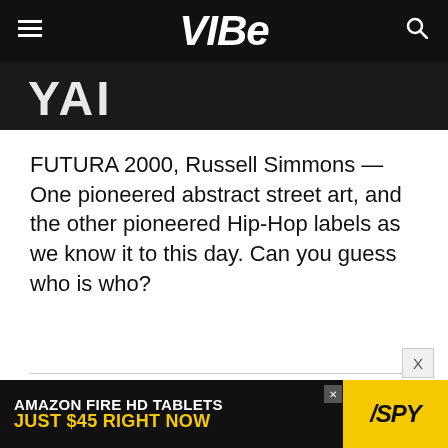VIBE
[Figure (photo): Black and white photo strip, partially visible at top]
FUTURA 2000, Russell Simmons — One pioneered abstract street art, and the other pioneered Hip-Hop labels as we know it to this day. Can you guess who is who?
ADVERTISEMENT
[Figure (infographic): Amazon Fire HD Tablets ad banner: AMAZON FIRE HD TABLETS JUST $45 RIGHT NOW with SPY logo]